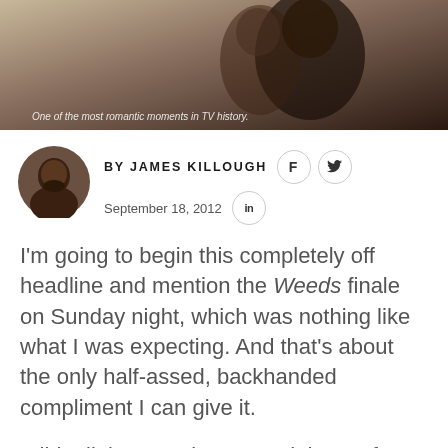[Figure (photo): A cropped photo showing two people in an intimate moment, resembling a romantic TV scene. A caption reads: One of the most romantic moments in TV history.]
BY JAMES KILLOUGH
September 18, 2012
I'm going to begin this completely off headline and mention the Weeds finale on Sunday night, which was nothing like what I was expecting. And that's about the only half-assed, backhanded compliment I can give it.
I did a little snooping around the TV fan forums a week or so ago to see